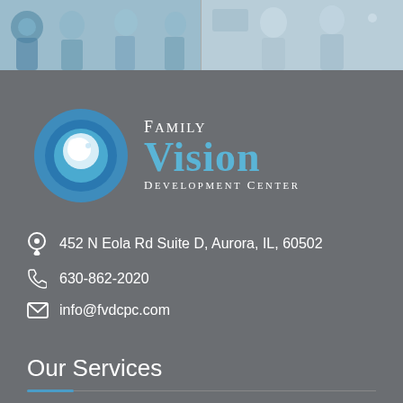[Figure (photo): Two side-by-side photos at top: left shows medical staff with text 'WE ARE OPEN FOR BUSINESS', right shows a medical/clinical scene]
[Figure (logo): Family Vision Development Center logo with blue eye graphic, white 'FAMILY' text, large blue 'VISION' text, and white 'DEVELOPMENT CENTER' text on gray background]
452 N Eola Rd Suite D, Aurora, IL, 60502
630-862-2020
info@fvdcpc.com
Our Services